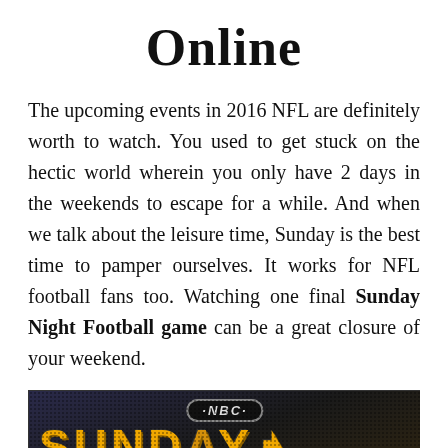Online
The upcoming events in 2016 NFL are definitely worth to watch. You used to get stuck on the hectic world wherein you only have 2 days in the weekends to escape for a while. And when we talk about the leisure time, Sunday is the best time to pamper ourselves. It works for NFL football fans too. Watching one final Sunday Night Football game can be a great closure of your weekend.
[Figure (photo): NBC Sunday Night Football LED sign showing 'SUNDAY NIGHT' in large orange illuminated letters with NBC logo at top and FOOTBALL text below]